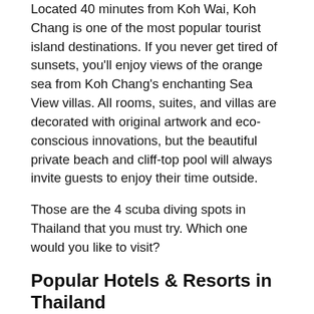Located 40 minutes from Koh Wai, Koh Chang is one of the most popular tourist island destinations. If you never get tired of sunsets, you'll enjoy views of the orange sea from Koh Chang's enchanting Sea View villas. All rooms, suites, and villas are decorated with original artwork and eco-conscious innovations, but the beautiful private beach and cliff-top pool will always invite guests to enjoy their time outside.
Those are the 4 scuba diving spots in Thailand that you must try. Which one would you like to visit?
Popular Hotels & Resorts in Thailand
—
Reference: Livestyleasia
Trending Now
[Figure (photo): Thumbnail image with blue gradient background for trending article]
3 Luxury Hotel Suite Rooms In